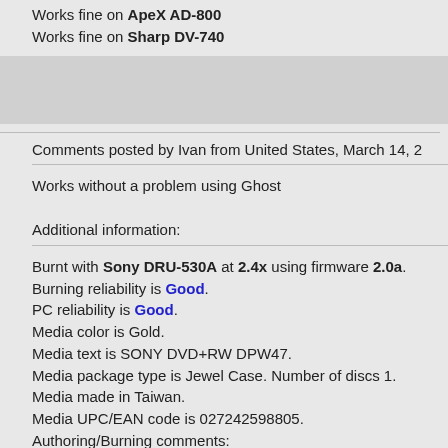Works fine on ApeX AD-800
Works fine on Sharp DV-740
Comments posted by Ivan from United States, March 14, 2...
Works without a problem using Ghost
Additional information:
Burnt with Sony DRU-530A at 2.4x using firmware 2.0a. Burning reliability is Good. PC reliability is Good. Media color is Gold. Media text is SONY DVD+RW DPW47. Media package type is Jewel Case. Number of discs 1. Media made in Taiwan. Media UPC/EAN code is 027242598805. Authoring/Burning comments: Norton Ghost 2003